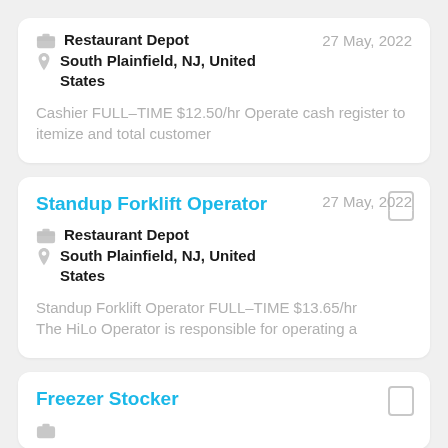Restaurant Depot | 27 May, 2022 | South Plainfield, NJ, United States | Cashier FULL-TIME $12.50/hr Operate cash register to itemize and total customer
Standup Forklift Operator
Restaurant Depot | 27 May, 2022 | South Plainfield, NJ, United States | Standup Forklift Operator FULL-TIME $13.65/hr The HiLo Operator is responsible for operating a
Freezer Stocker